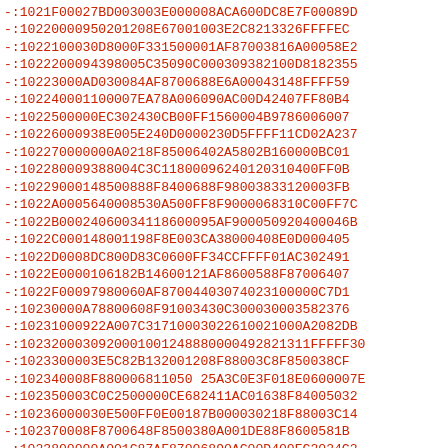-:1021F00027BD003003E000008ACA600DC8E7F00089D
-:10220000950201208E67001003E2C8213326FFFFEC
-:1022100030D8000F331500001AF87003816A00058E2
-:1022200094398005C35090C000309382100D8182355
-:10223000AD030084AF8700688E6A00043148FFFF59
-:102240001100007EA78A006090AC00D42407FF80B4
-:1022500000EC302430CB00FF1560004B9786006007
-:10226000938E005E240D0000230D5FFFF11CD02A237
-:102270000000A0218F85006402A5802B160000BC01
-:10228000938800 4C3C11800096240120310400FF0B
-:10229000148500888F8400688F98003833120003FB
-:1022A000564000 8530A500FF8F9000068310C00FF7C
-:1022B00024060034118600095AF900050920400046B
-:1022C000148001198F8E003CA38000408E0D000405
-:1022D0008DC800D83C0600FF34CCFFFF01AC302491
-:1022E0000106182B14600121AF8600588F87006407
-:1022F00097980060AF87004403074023100000C7D1
-:10230000A78800608F91003430C300030003582376
-:1023100922A007C317100030226 10021000A2082DB
-:10232000309200010012488 0000492821311FFFFF30
-:1023300003E5C82B132001208F88003C8F850038CF
-:102340008F880006811050 25A3C0E3F018E0600007E
-:102350003C0C2500000CE682411AC01638F84005032
-:10236000030E500FF0E00187B000030218F88003C14
-:102370008F8700648F8500380A001DE88F8600581B
-:1023800000A001C87AF87006890AC00D400EC2024C2
-:10239000309000FF1200000169386005D90B5008813
-:1023A00090B400D724A8008832A2003F2446FFE062
-:1023B0002CD10020A39400401220000CAF880050C4
-:1023C000240E0001000CE2004308A00191540012B94